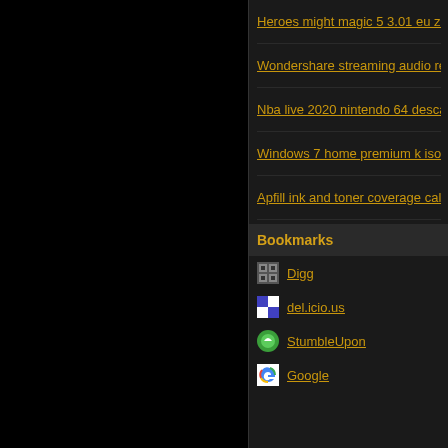Heroes might magic 5 3.01 eu zip
Wondershare streaming audio rec
Nba live 2020 nintendo 64 descarg
Windows 7 home premium k iso u
Apfill ink and toner coverage calcu
Bookmarks
Digg
del.icio.us
StumbleUpon
Google